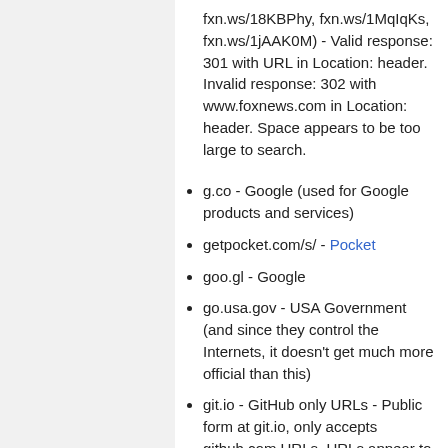fxn.ws/18KBPhy, fxn.ws/1MqIqKs, fxn.ws/1jAAK0M) - Valid response: 301 with URL in Location: header. Invalid response: 302 with www.foxnews.com in Location: header. Space appears to be too large to search.
g.co - Google (used for Google products and services)
getpocket.com/s/ - Pocket
goo.gl - Google
go.usa.gov - USA Government (and since they control the Internets, it doesn't get much more official than this)
git.io - GitHub only URLs - Public form at git.io, only accepts github.com URLs. URLs appear to be sequential for some operations. Valid URLs: git.io/xYTU, git.io/vtrEf...